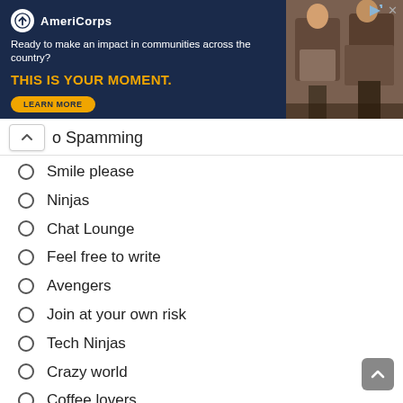[Figure (screenshot): AmeriCorps advertisement banner: dark navy background with logo, tagline 'Ready to make an impact in communities across the country?', headline 'THIS IS YOUR MOMENT.' in gold, a 'LEARN MORE' button, and a photo of people on the right side.]
No Spamming
Smile please
Ninjas
Chat Lounge
Feel free to write
Avengers
Join at your own risk
Tech Ninjas
Crazy world
Coffee lovers
Best WhatsApp Group Names For Ladies
Gossins launch